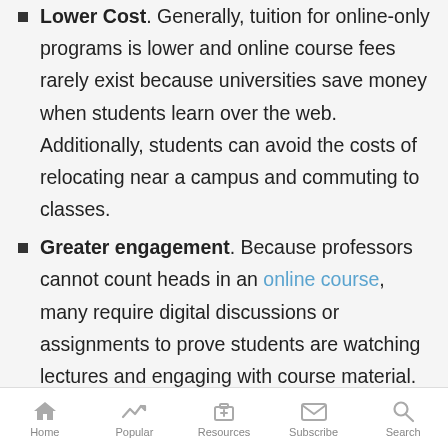Lower Cost. Generally, tuition for online-only programs is lower and online course fees rarely exist because universities save money when students learn over the web. Additionally, students can avoid the costs of relocating near a campus and commuting to classes.
Greater engagement. Because professors cannot count heads in an online course, many require digital discussions or assignments to prove students are watching lectures and engaging with course material. This compels students to learn actively and interact with peers when they might have been more passive in a traditional classroom.
Better outcomes. In a study by MIT, researchers found
Home  Popular  Resources  Subscribe  Search